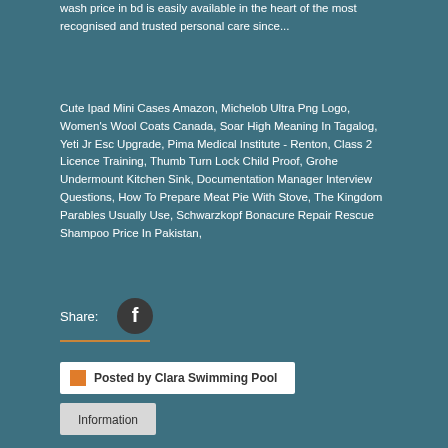wash price in bd is easily available in the heart of the most recognised and trusted personal care since...
Cute Ipad Mini Cases Amazon, Michelob Ultra Png Logo, Women's Wool Coats Canada, Soar High Meaning In Tagalog, Yeti Jr Esc Upgrade, Pima Medical Institute - Renton, Class 2 Licence Training, Thumb Turn Lock Child Proof, Grohe Undermount Kitchen Sink, Documentation Manager Interview Questions, How To Prepare Meat Pie With Stove, The Kingdom Parables Usually Use, Schwarzkopf Bonacure Repair Rescue Shampoo Price In Pakistan,
Share:
[Figure (logo): Facebook share button icon - dark circle with white letter f]
Posted by Clara Swimming Pool
Information